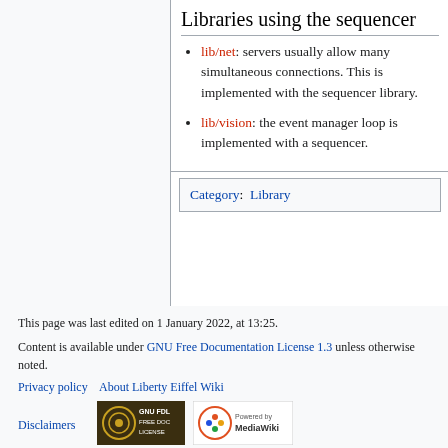Libraries using the sequencer
lib/net: servers usually allow many simultaneous connections. This is implemented with the sequencer library.
lib/vision: the event manager loop is implemented with a sequencer.
Category:  Library
This page was last edited on 1 January 2022, at 13:25.
Content is available under GNU Free Documentation License 1.3 unless otherwise noted.
Privacy policy   About Liberty Eiffel Wiki
Disclaimers